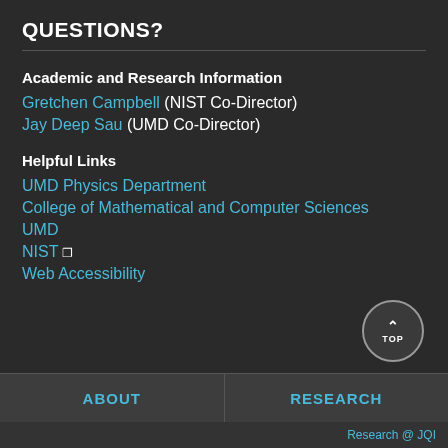QUESTIONS?
Academic and Research Information
Gretchen Campbell (NIST Co-Director)
Jay Deep Sau (UMD Co-Director)
Helpful Links
UMD Physics Department
College of Mathematical and Computer Sciences
UMD
NIST
Web Accessibility
ABOUT  RESEARCH  Research @ JQI